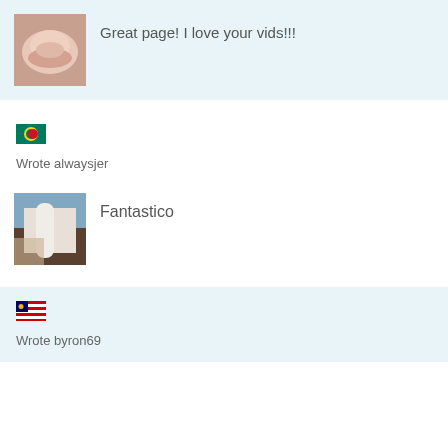[Figure (photo): User avatar thumbnail - close-up photo]
Great page! I love your vids!!!
[Figure (other): Flag icon - green/yellow circular flag]
Wrote alwaysjer
[Figure (photo): User avatar thumbnail - object photo]
Fantastico
[Figure (other): Flag icon - Malaysian flag]
Wrote byron69